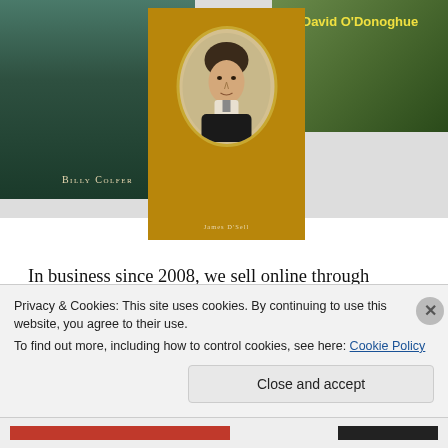[Figure (photo): Three book covers arranged together: left cover shows a coastal/landscape scene with 'Billy Colfer' author name; center cover has an oval portrait of a Victorian-era man with author name 'James D'Sell' at bottom on gold/ochre background; right cover shows a green illustrated cover with 'David O'Donoghue' in bold yellow text.]
In business since 2008, we sell online through AbeBooks, at book fairs, and direct from the premises, by appointment. We deal in antiquarian, out-of-print, and second-hand books. The stock is mostly, but far from exclusively, of 'Irish Interest' – History (political, military, social, religious); Topography; Literature; Irish Language. Enquiries are most welcome, and images of
Privacy & Cookies: This site uses cookies. By continuing to use this website, you agree to their use.
To find out more, including how to control cookies, see here: Cookie Policy
Close and accept